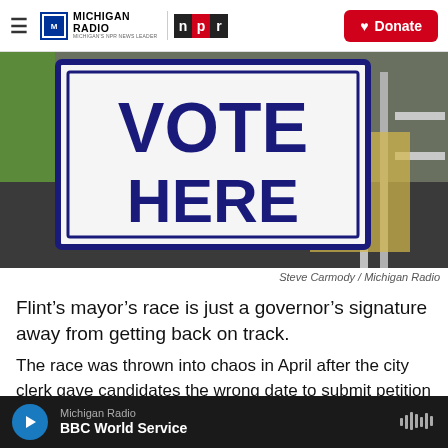Michigan Radio | NPR | Donate
[Figure (photo): A white yard sign with blue border and blue text reading VOTE HERE, placed on a carpet floor with metal shelving visible in background]
Steve Carmody / Michigan Radio
Flint’s mayor’s race is just a governor’s signature away from getting back on track.
The race was thrown into chaos in April after the city clerk gave candidates the wrong date to submit petition signatures. No candidate submitted
Michigan Radio BBC World Service